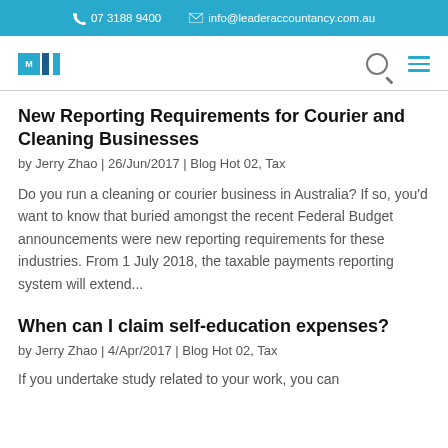07 3188 9400  info@leaderaccountancy.com.au
[Figure (logo): Leader Accountancy logo — teal and dark blue square logo mark]
New Reporting Requirements for Courier and Cleaning Businesses
by Jerry Zhao | 26/Jun/2017 | Blog Hot 02, Tax
Do you run a cleaning or courier business in Australia? If so, you'd want to know that buried amongst the recent Federal Budget announcements were new reporting requirements for these industries. From 1 July 2018, the taxable payments reporting system will extend...
When can I claim self-education expenses?
by Jerry Zhao | 4/Apr/2017 | Blog Hot 02, Tax
If you undertake study related to your work, you can